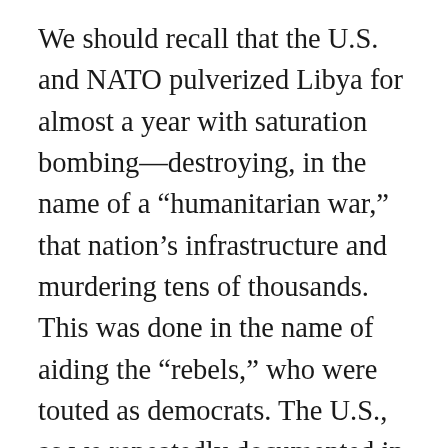We should recall that the U.S. and NATO pulverized Libya for almost a year with saturation bombing—destroying, in the name of a “humanitarian war,” that nation’s infrastructure and murdering tens of thousands. This was done in the name of aiding the “rebels,” who were touted as democrats. The U.S., as we repeatedly documented in this newspaper, created a “Libyan Transitional National Council” led by U.S., French, and other NATO-appointed millionaires/billionaires and other pro-imperialist forces that soon afterwards disintegrated into warring factions, each